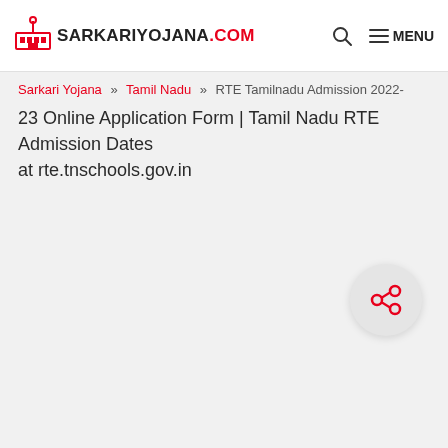SARKARIYOJANA.COM
Sarkari Yojana » Tamil Nadu » RTE Tamilnadu Admission 2022-23 Online Application Form | Tamil Nadu RTE Admission Dates at rte.tnschools.gov.in
[Figure (other): Share icon button (circular button with share/network icon in red)]